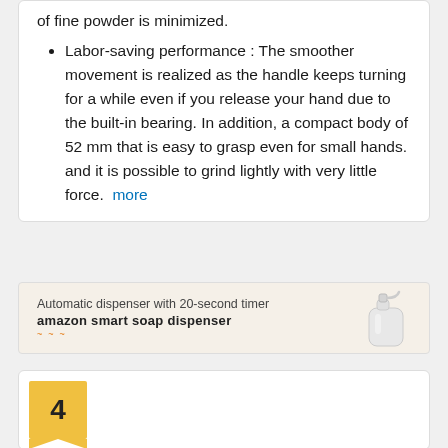of fine powder is minimized.
Labor-saving performance : The smoother movement is realized as the handle keeps turning for a while even if you release your hand due to the built-in bearing. In addition, a compact body of 52 mm that is easy to grasp even for small hands. and it is possible to grind lightly with very little force.  more
[Figure (infographic): Advertisement banner for Amazon Smart Soap Dispenser: 'Automatic dispenser with 20-second timer' with image of white soap dispenser]
[Figure (photo): Product ranking badge showing number 4 in yellow/gold tag shape, with photo of a round coffee grinder containing coffee beans]